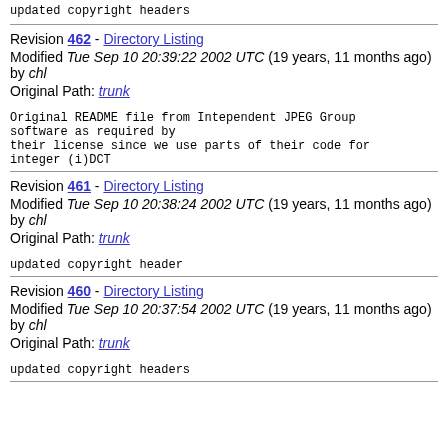updated copyright headers
Revision 462 - Directory Listing
Modified Tue Sep 10 20:39:22 2002 UTC (19 years, 11 months ago) by chl
Original Path: trunk
Original README file from Intependent JPEG Group software as required by
their license since we use parts of their code for
integer (i)DCT
Revision 461 - Directory Listing
Modified Tue Sep 10 20:38:24 2002 UTC (19 years, 11 months ago) by chl
Original Path: trunk
updated copyright header
Revision 460 - Directory Listing
Modified Tue Sep 10 20:37:54 2002 UTC (19 years, 11 months ago) by chl
Original Path: trunk
updated copyright headers